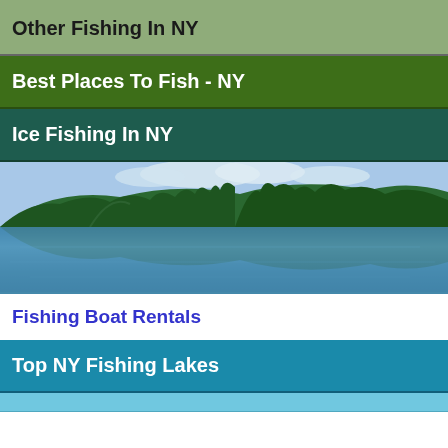Other Fishing In NY
Best Places To Fish - NY
Ice Fishing In NY
[Figure (photo): Scenic lake surrounded by green forested hills with blue sky and clouds reflected in the calm water]
Fishing Boat Rentals
Top NY Fishing Lakes